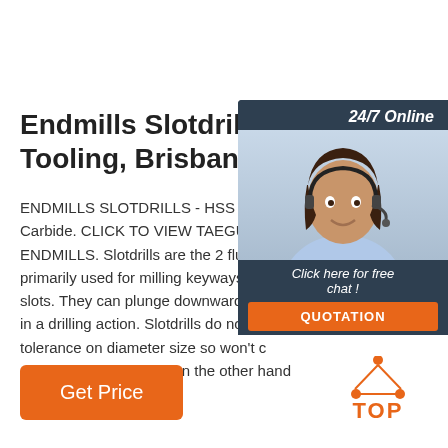Endmills Slotdrills - Milling Tooling, Brisbane, Australia
ENDMILLS SLOTDRILLS - HSS & Carbide. CLICK TO VIEW TAEGUTEC ENDMILLS. Slotdrills are the 2 flute cutter primarily used for milling keyways and slots. They can plunge downwards to cut in a drilling action. Slotdrills do not have tolerance on diameter size so won't cut oversize. Endmills, on the other hand can be 4, 6 or 8 flutes ...
[Figure (illustration): Online chat widget with woman wearing headset, dark navy background, '24/7 Online' header, 'Click here for free chat!' text, and orange QUOTATION button]
[Figure (logo): Orange 'TOP' logo with three orange dots arranged in triangle above the word TOP]
Get Price